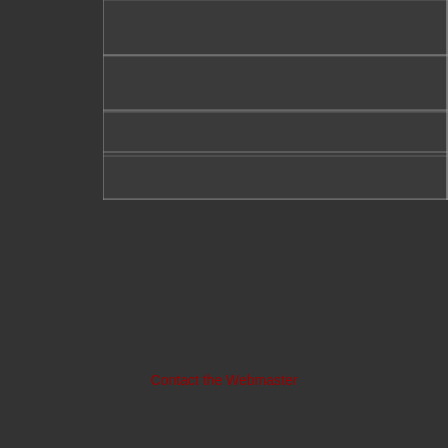[Figure (other): Partial view of a dark-themed table or grid structure with horizontal lines on a dark gray background, visible in the upper portion of the page. The table rows are outlined with thin light gray/silver lines against the dark background. The table appears to be cut off on the right and top edges.]
Contact the Webmaster